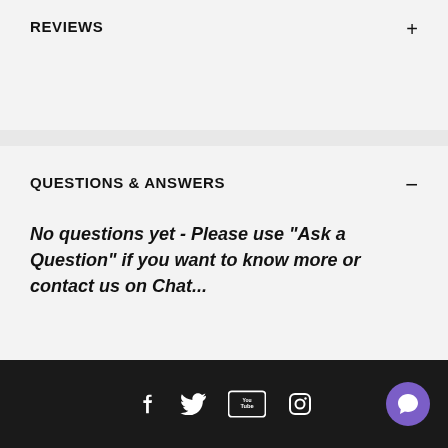REVIEWS
QUESTIONS & ANSWERS
No questions yet - Please use "Ask a Question" if you want to know more or contact us on Chat...
ASK A QUESTION
Social media icons: Facebook, Twitter, YouTube, Instagram; Chat button